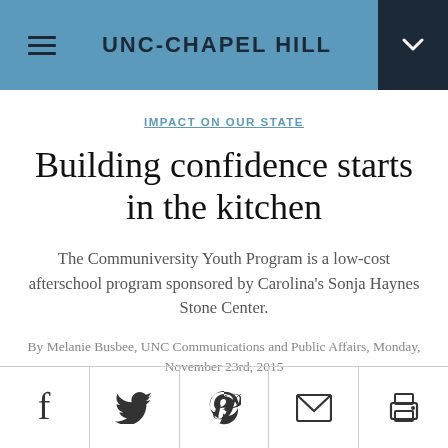UNC-CHAPEL HILL
IMPACT ON OUR STATE
Building confidence starts in the kitchen
The Communiversity Youth Program is a low-cost afterschool program sponsored by Carolina's Sonja Haynes Stone Center.
By Melanie Busbee, UNC Communications and Public Affairs, Monday, November 23rd, 2015
[Figure (infographic): Social sharing icons bar with Facebook, Twitter, Pinterest, Email, and Print icons]